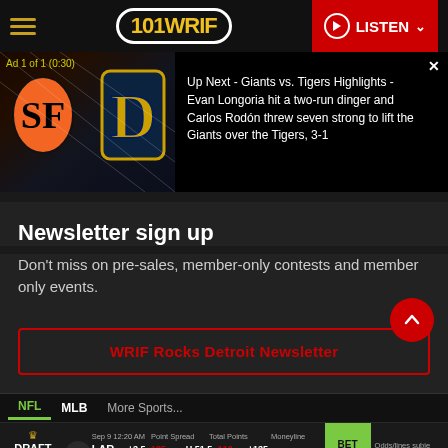101 WRIF — LISTEN
[Figure (screenshot): Ad overlay showing Giants vs Tigers baseball highlights video thumbnail with SF Giants and Detroit Tigers logos, text: Ad 1 of 1 (0:30). Up Next - Giants vs. Tigers Highlights - Evan Longoria hit a two-run dinger and Carlos Rodón threw seven strong to lift the Giants over the Tigers, 3-1]
Newsletter sign up
Don't miss on pre-sales, member-only contests and member only events.
WRIF Rocks Detroit Newsletter
NFL   MLB   More Sports...
|  | Sep 9 12:20 AM | Point Spread | Total Points | Moneyline |  |  |
| --- | --- | --- | --- | --- | --- | --- |
| LAR |  | +2.5 -105 | U 51.5 -110 | +125 | BET NOW | Odds/lines subje... See DraftKings.o... |
| BUF |  | -2.5 -115 | O 51.5 -110 | -145 |  |  |